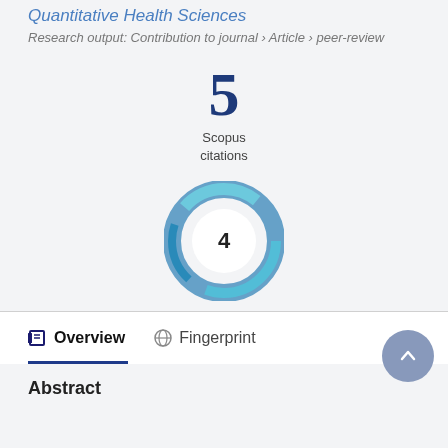Quantitative Health Sciences
Research output: Contribution to journal › Article › peer-review
[Figure (other): Scopus citations count showing the number 5 in large blue serif font with 'Scopus citations' label beneath]
[Figure (donut-chart): Altmetric donut badge showing the number 4 in the center, with teal/blue swirling ring design]
Overview   Fingerprint
Abstract